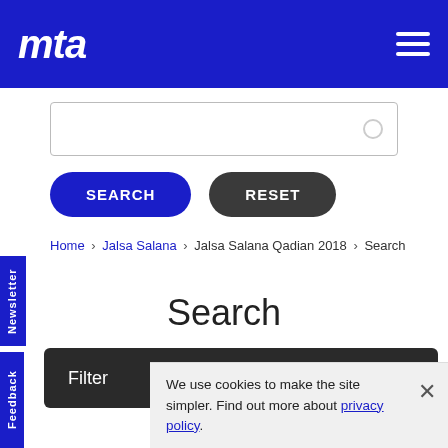mta (logo) | hamburger menu
[Figure (screenshot): Search input box with circle icon on right]
SEARCH | RESET
Home › Jalsa Salana › Jalsa Salana Qadian 2018 › Search
Search
Filter ▶
We use cookies to make the site simpler. Find out more about privacy policy.